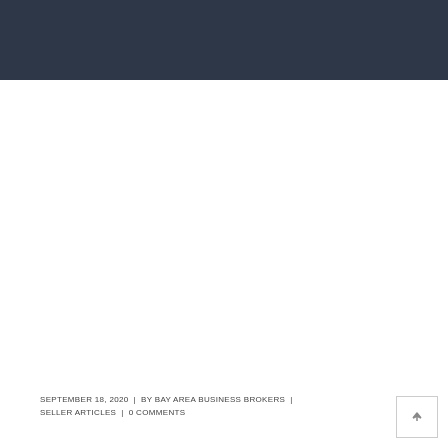SEPTEMBER 18, 2020  |  BY BAY AREA BUSINESS BROKERS  |  SELLER ARTICLES  |  0 COMMENTS